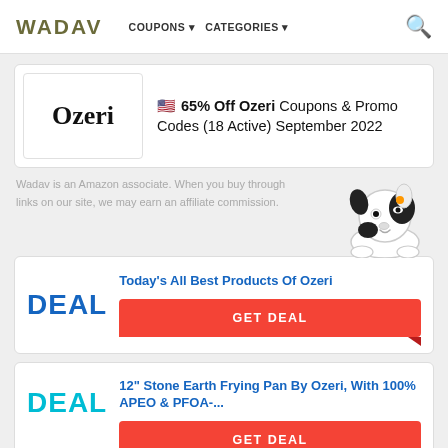WADAV | COUPONS | CATEGORIES
[Figure (logo): Ozeri brand logo in serif font inside white bordered box]
65% Off Ozeri Coupons & Promo Codes (18 Active) September 2022
Wadav is an Amazon associate. When you buy through links on our site, we may earn an affiliate commission.
[Figure (illustration): Cute cartoon dog mascot peeking over edge]
DEAL
Today's All Best Products Of Ozeri
GET DEAL
DEAL
12" Stone Earth Frying Pan By Ozeri, With 100% APEO & PFOA-...
GET DEAL